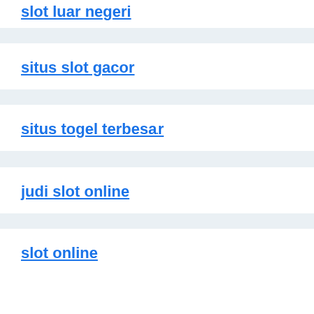slot luar negeri
situs slot gacor
situs togel terbesar
judi slot online
slot online